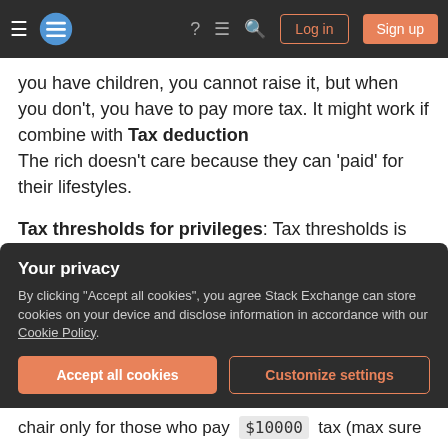Stack Exchange navigation bar with hamburger menu, logo, help, chat, search, Log in, Sign up
you have children, you cannot raise it, but when you don't, you have to pay more tax. It might work if combine with Tax deduction
The rich doesn't care because they can 'paid' for their lifestyles.
Tax thresholds for privileges: Tax thresholds is use to measure how RICH the family is. If family pay tax above the thresholds (for example, more than $1000 a month), their children can access to public school. More, then better public school. And
Your privacy
By clicking "Accept all cookies", you agree Stack Exchange can store cookies on your device and disclose information in accordance with our Cookie Policy.
Accept all cookies    Customize settings
chair only for those who pay $10000 tax (max sure